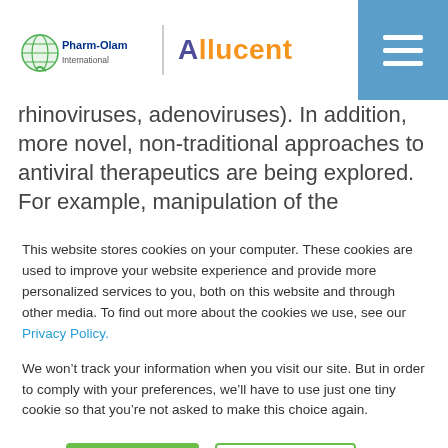[Figure (logo): Pharm-Olam and Allucent combined logo with globe icon and vertical divider]
rhinoviruses, adenoviruses). In addition, more novel, non-traditional approaches to antiviral therapeutics are being explored. For example, manipulation of the respiratory microbiome, and “biologic” enhancement of innate immune responses (e.g. via intranasal instillation of attenuated influenza strains, Bacillus subtilis, etc.) are being
This website stores cookies on your computer. These cookies are used to improve your website experience and provide more personalized services to you, both on this website and through other media. To find out more about the cookies we use, see our Privacy Policy.
We won’t track your information when you visit our site. But in order to comply with your preferences, we’ll have to use just one tiny cookie so that you’re not asked to make this choice again.